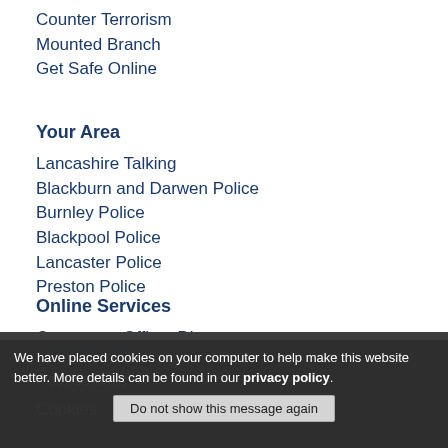Counter Terrorism
Mounted Branch
Get Safe Online
Your Area
Lancashire Talking
Blackburn and Darwen Police
Burnley Police
Blackpool Police
Lancaster Police
Preston Police
Online Services
Contact an Officer Direct
Report a Crime or Incident
Lost and Found Property
Join Us
Say Thanks
Contact Us
Accessibility
Cookies
We have placed cookies on your computer to help make this website better. More details can be found in our privacy policy.